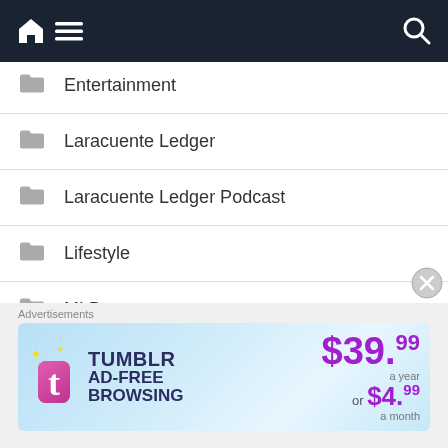Navigation bar with home, menu, and search icons
Entertainment
Laracuente Ledger
Laracuente Ledger Podcast
Lifestyle
MLB
MLB 2022 Coverage
MLB 3 Up 3 Down (2021)
NY Yankees
Advertisements
[Figure (screenshot): Tumblr Ad-Free Browsing advertisement banner showing $39.99 a year or $4.99 a month pricing]